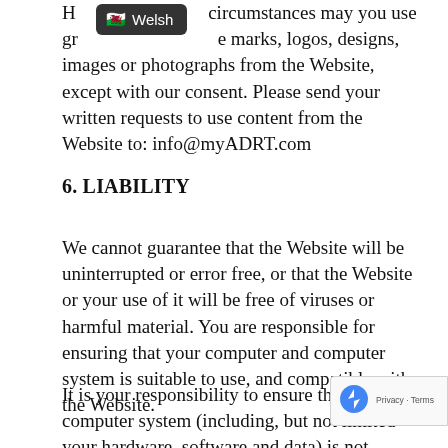However under no circumstances may you use graphics, trade marks, logos, designs, images or photographs from the Website, except with our consent. Please send your written requests to use content from the Website to: info@myADRT.com
6. LIABILITY
We cannot guarantee that the Website will be uninterrupted or error free, or that the Website or your use of it will be free of viruses or harmful material. You are responsible for ensuring that your computer and computer system is suitable to use, and compatible with, the Website.
It is your responsibility to ensure that your computer system (including, but not limited to your hardware, software and data) is not